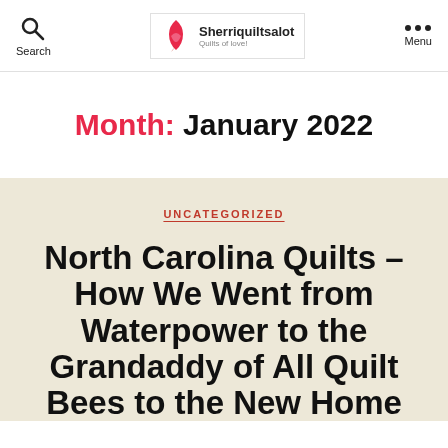Search | Sherriquiltsalot | Menu
Month: January 2022
UNCATEGORIZED
North Carolina Quilts – How We Went from Waterpower to the Grandaddy of All Quilt Bees to the New Home